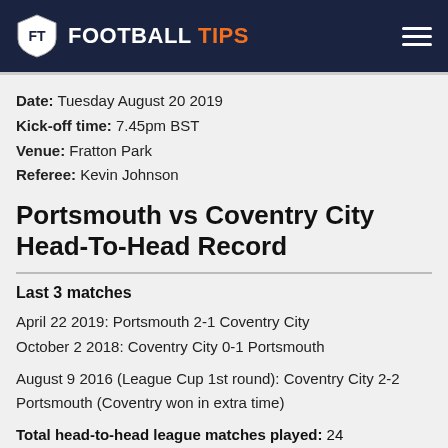FT FOOTBALL TIPS
Date: Tuesday August 20 2019
Kick-off time: 7.45pm BST
Venue: Fratton Park
Referee: Kevin Johnson
Portsmouth vs Coventry City Head-To-Head Record
Last 3 matches
April 22 2019: Portsmouth 2-1 Coventry City
October 2 2018: Coventry City 0-1 Portsmouth
August 9 2016 (League Cup 1st round): Coventry City 2-2 Portsmouth (Coventry won in extra time)
Total head-to-head league matches played: 24